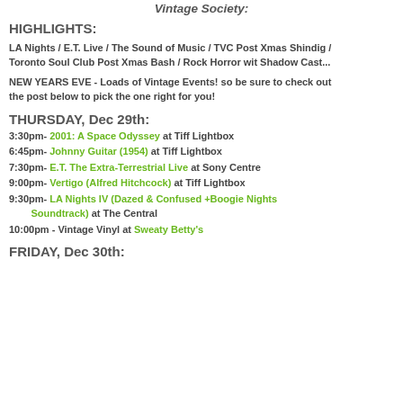Vintage Society:
HIGHLIGHTS:
LA Nights / E.T. Live / The Sound of Music / TVC Post Xmas Shindig / Toronto Soul Club Post Xmas Bash / Rock Horror wit Shadow Cast...
NEW YEARS EVE - Loads of Vintage Events! so be sure to check out the post below to pick the one right for you!
THURSDAY, Dec 29th:
3:30pm- 2001: A Space Odyssey at Tiff Lightbox
6:45pm- Johnny Guitar (1954) at Tiff Lightbox
7:30pm- E.T. The Extra-Terrestrial Live at Sony Centre
9:00pm- Vertigo (Alfred Hitchcock) at Tiff Lightbox
9:30pm- LA Nights IV (Dazed & Confused +Boogie Nights Soundtrack) at The Central
10:00pm - Vintage Vinyl at Sweaty Betty's
FRIDAY, Dec 30th: